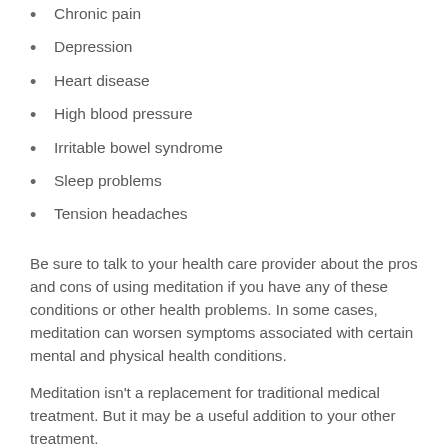Chronic pain
Depression
Heart disease
High blood pressure
Irritable bowel syndrome
Sleep problems
Tension headaches
Be sure to talk to your health care provider about the pros and cons of using meditation if you have any of these conditions or other health problems. In some cases, meditation can worsen symptoms associated with certain mental and physical health conditions.
Meditation isn't a replacement for traditional medical treatment. But it may be a useful addition to your other treatment.